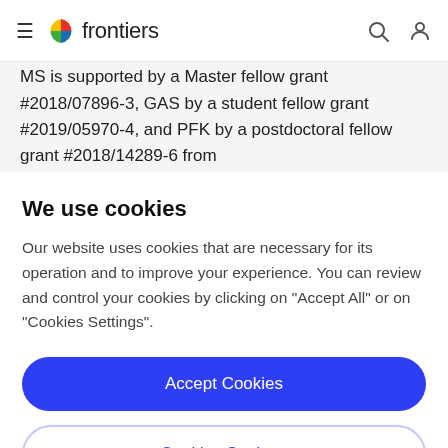frontiers
MS is supported by a Master fellow grant #2018/07896-3, GAS by a student fellow grant #2019/05970-4, and PFK by a postdoctoral fellow grant #2018/14289-6 from
We use cookies
Our website uses cookies that are necessary for its operation and to improve your experience. You can review and control your cookies by clicking on "Accept All" or on "Cookies Settings".
Accept Cookies
Cookies Settings